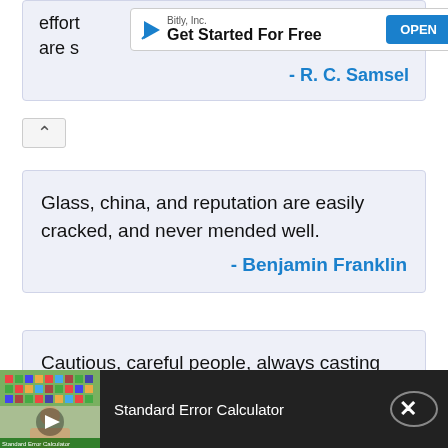effort ... ts are s...
[Figure (screenshot): Bitly, Inc. advertisement banner with 'Get Started For Free' text and OPEN button]
- R. C. Samsel
Glass, china, and reputation are easily cracked, and never mended well.
- Benjamin Franklin
Cautious, careful people, always casting about to preserve their reputations ... can never effect a reform.
- Susan Brownell Anthony
[Figure (screenshot): Standard Error Calculator video ad thumbnail at the bottom of the screen]